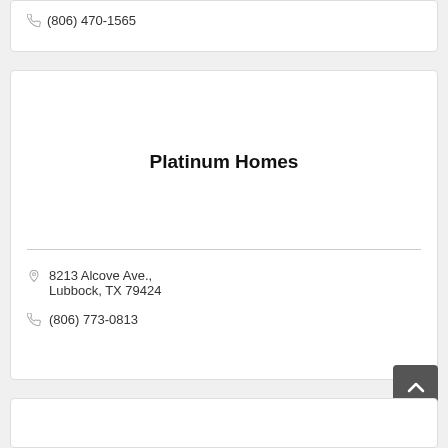(806) 470-1565
Platinum Homes
8213 Alcove Ave., Lubbock, TX 79424
(806) 773-0813